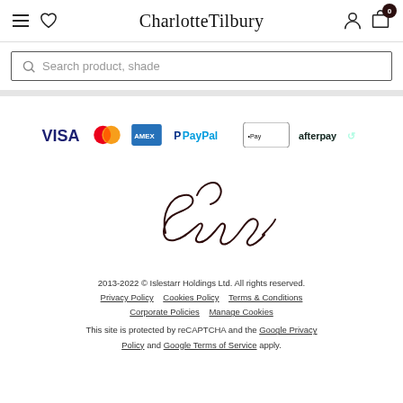CharlotteTilbury
Search product, shade
[Figure (infographic): Payment method logos: VISA, Mastercard, American Express, PayPal, Apple Pay, Afterpay]
[Figure (illustration): Charlotte Tilbury signature handwriting in dark brown/black ink]
2013-2022 © Islestarr Holdings Ltd. All rights reserved. Privacy Policy  Cookies Policy  Terms & Conditions  Corporate Policies  Manage Cookies  This site is protected by reCAPTCHA and the Google Privacy Policy and Google Terms of Service apply.